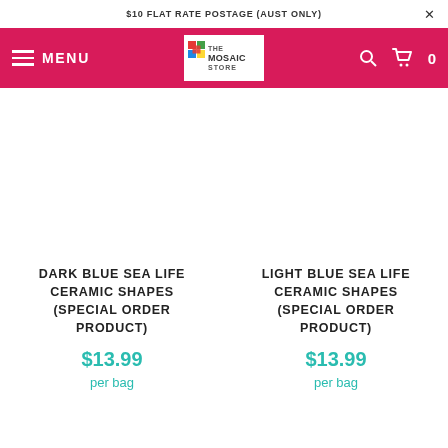$10 FLAT RATE POSTAGE (AUST ONLY)
[Figure (logo): The Mosaic Store logo with colorful tile graphic and text]
DARK BLUE SEA LIFE CERAMIC SHAPES (SPECIAL ORDER PRODUCT)
$13.99
per bag
LIGHT BLUE SEA LIFE CERAMIC SHAPES (SPECIAL ORDER PRODUCT)
$13.99
per bag